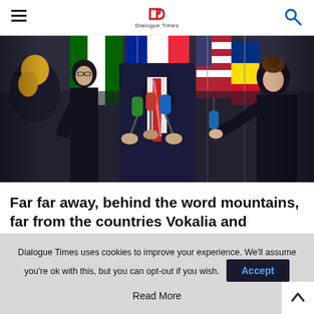Dialogue Times
[Figure (photo): Press conference scene: a person in a dark suit with a red striped tie is surrounded by reporters holding microphones (green, blue, red). International flags are visible in the background. Multiple people in formal attire are visible.]
Far far away, behind the word mountains, far from the countries Vokalia and Consonantia, there live the blind texts.
Separated they live in Bookmarksgrove right at the coast of
Dialogue Times uses cookies to improve your experience. We'll assume you're ok with this, but you can opt-out if you wish.
Accept
Read More